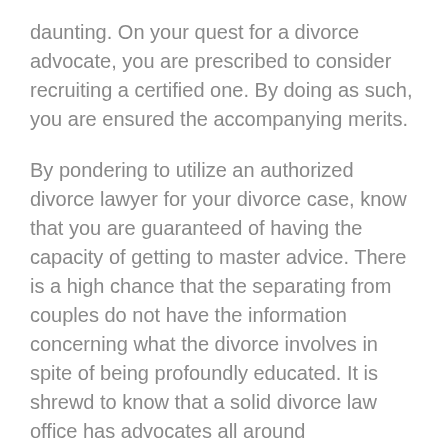daunting. On your quest for a divorce advocate, you are prescribed to consider recruiting a certified one. By doing as such, you are ensured the accompanying merits.
By pondering to utilize an authorized divorce lawyer for your divorce case, know that you are guaranteed of having the capacity of getting to master advice. There is a high chance that the separating from couples do not have the information concerning what the divorce involves in spite of being profoundly educated. It is shrewd to know that a solid divorce law office has advocates all around experienced in separate from issues and know it splendidly how to speak to their customers in a court. You should realize that experience is normally picked up with ordinary exposure. As an obvious certainty, the separating from couple are likely not to have experienced the divorce procedure in the previous.